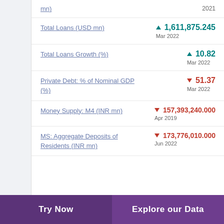mn)
Total Loans (USD mn)
Total Loans Growth (%)
Private Debt: % of Nominal GDP (%)
Money Supply: M4 (INR mn)
MS: Aggregate Deposits of Residents (INR mn)
Try Now | Explore our Data